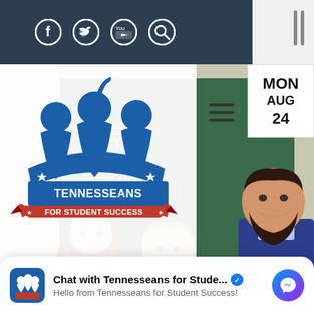[Figure (screenshot): Tennesseans for Student Success website screenshot showing navigation bar with social media icons (Facebook, Twitter, YouTube, Search), organization logo, hamburger menu, date display (MON AUG 24), classroom hero photo with teacher and students, a question text, and a Facebook Messenger chat widget]
MON AUG 24
[Figure (logo): Tennesseans for Student Success logo - blue silhouettes of children with one hand raised, banner reading TENNESSEANS FOR STUDENT SUCCESS]
What is your organization's mission, and how does it
Chat with Tennesseans for Stude... Hello from Tennesseans for Student Success!